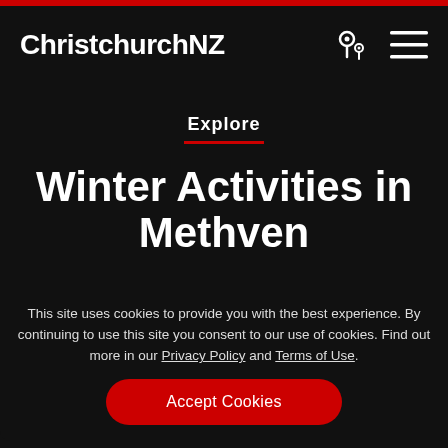ChristchurchNZ
Explore
Winter Activities in Methven
This site uses cookies to provide you with the best experience. By continuing to use this site you consent to our use of cookies. Find out more in our Privacy Policy and Terms of Use.
Accept Cookies